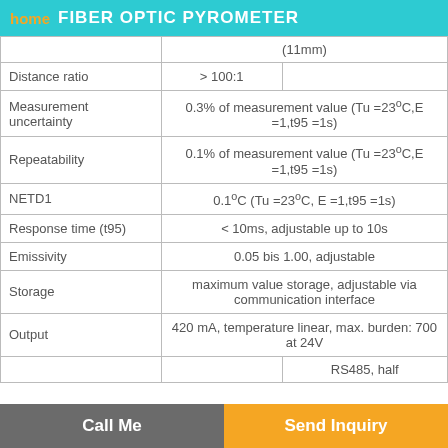home FIBER OPTIC PYROMETER
| Parameter | Value | Sub-value |
| --- | --- | --- |
|  | (11mm) |  |
| Distance ratio | > 100:1 |  |
| Measurement uncertainty | 0.3% of measurement value (Tu =23°C,E =1,t95 =1s) |  |
| Repeatability | 0.1% of measurement value (Tu =23°C,E =1,t95 =1s) |  |
| NETD1 | 0.1°C (Tu =23°C, E =1,t95 =1s) |  |
| Response time (t95) | < 10ms, adjustable up to 10s |  |
| Emissivity | 0.05 bis 1.00, adjustable |  |
| Storage | maximum value storage, adjustable via communication interface |  |
| Output | 420 mA, temperature linear, max. burden: 700 at 24V |  |
|  |  | RS485, half |
Call Me   Send Inquiry